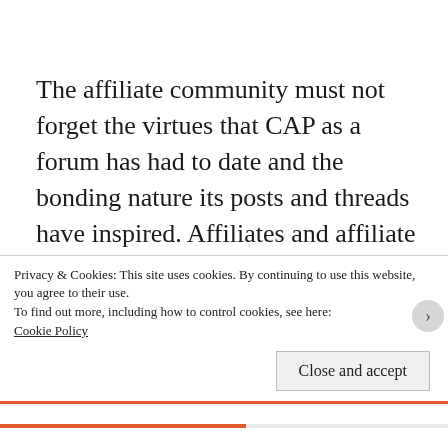The affiliate community must not forget the virtues that CAP as a forum has had to date and the bonding nature its posts and threads have inspired. Affiliates and affiliate managers who have taken steps to open new forums and run separate events must do so with a long term mindset. They must also resist temptation to
Privacy & Cookies: This site uses cookies. By continuing to use this website, you agree to their use.
To find out more, including how to control cookies, see here: Cookie Policy
Close and accept